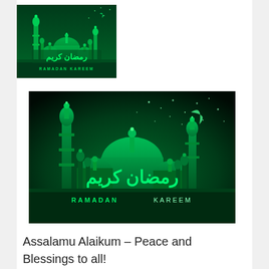[Figure (illustration): Ramadan Kareem greeting card with green mosque silhouette on dark green background, Arabic text and 'RAMADAN KAREEM' text, small image]
[Figure (illustration): Ramadan Kareem greeting card with green mosque silhouette on dark green/black background with stars and crescent moon, Arabic text and 'RAMADAN KAREEM' text, large image]
Assalamu Alaikum – Peace and Blessings to all!